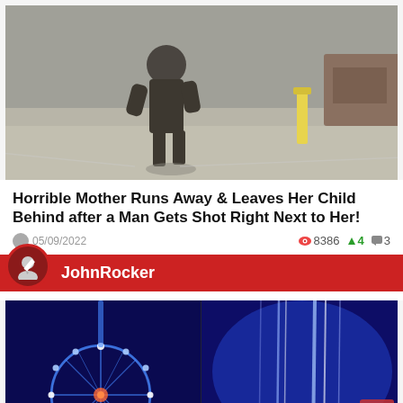[Figure (photo): Blurry grayscale photo of a person walking on a street/parking lot, with a yellow bollard and a vehicle visible in the background.]
Horrible Mother Runs Away & Leaves Her Child Behind after a Man Gets Shot Right Next to Her!
05/09/2022   👁 8386  ↑4  💬 3
JohnRocker
[Figure (photo): Blue-lit nighttime photo showing a spinning carnival/ferris wheel illuminated with lights on the left, and bright light streaks on the right side against a dark blue background.]